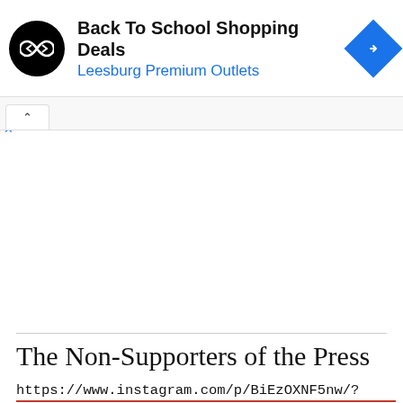[Figure (screenshot): Advertisement banner for Back To School Shopping Deals at Leesburg Premium Outlets, with a black circular logo with infinity-style arrow icon on the left, bold title text, blue subtitle, blue navigation diamond icon on the right, and small play/close controls below left]
The Non-Supporters of the Press
https://www.instagram.com/p/BiEzOXNF5nw/?hl=en&taken-by=manchesterunited